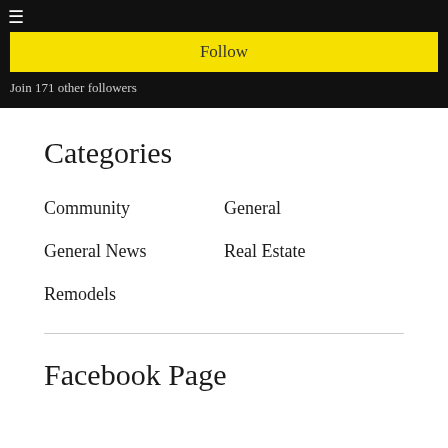Follow
Join 171 other followers
Categories
Community
General
General News
Real Estate
Remodels
Facebook Page